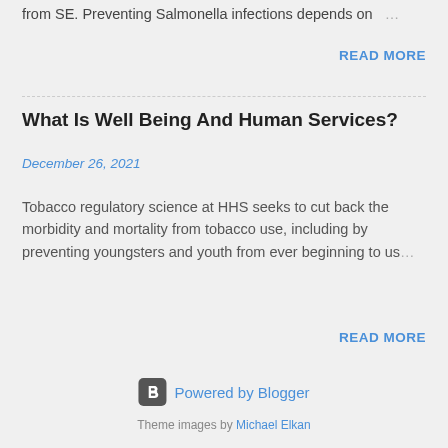from SE. Preventing Salmonella infections depends on …
READ MORE
What Is Well Being And Human Services?
December 26, 2021
Tobacco regulatory science at HHS seeks to cut back the morbidity and mortality from tobacco use, including by preventing youngsters and youth from ever beginning to use …
READ MORE
Powered by Blogger
Theme images by Michael Elkan